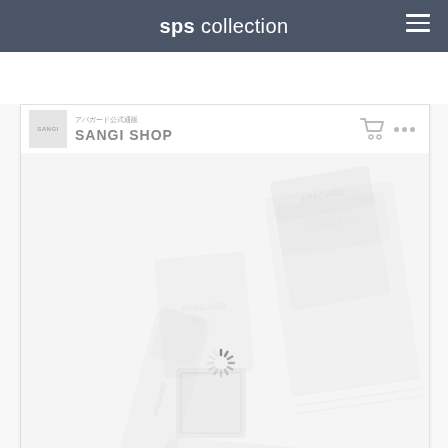sps collection
[Figure (screenshot): Screenshot of SANGI SHOP (アパガード公式通販) website showing APAGARD ROYAL toothpaste products arranged on a white background, with a loading spinner visible in the center of the product image area.]